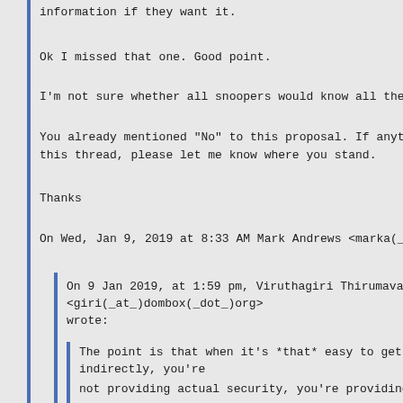information if they want it.
Ok I missed that one. Good point.
I'm not sure whether all snoopers would know all these
You already mentioned "No" to this proposal. If anyth this thread, please let me know where you stand.
Thanks
On Wed, Jan 9, 2019 at 8:33 AM Mark Andrews <marka(_a
On 9 Jan 2019, at 1:59 pm, Viruthagiri Thirumava <giri(_at_)dombox(_dot_)org> wrote:
The point is that when it's *that* easy to get th indirectly, you're not providing actual security, you're providing s
It's not *that* easy. And that's my whole point. that points to in-addr.arpa rather than real domain But if you believe this proposal is pointless, th as "No" for this proposal.
So the snooper just makes a connection over port 26